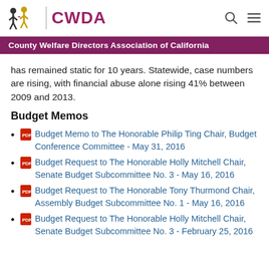CWDA — County Welfare Directors Association of California
has remained static for 10 years. Statewide, case numbers are rising, with financial abuse alone rising 41% between 2009 and 2013.
Budget Memos
Budget Memo to The Honorable Philip Ting Chair, Budget Conference Committee - May 31, 2016
Budget Request to The Honorable Holly Mitchell Chair, Senate Budget Subcommittee No. 3 - May 16, 2016
Budget Request to The Honorable Tony Thurmond Chair, Assembly Budget Subcommittee No. 1 - May 16, 2016
Budget Request to The Honorable Holly Mitchell Chair, Senate Budget Subcommittee No. 3 - February 25, 2016